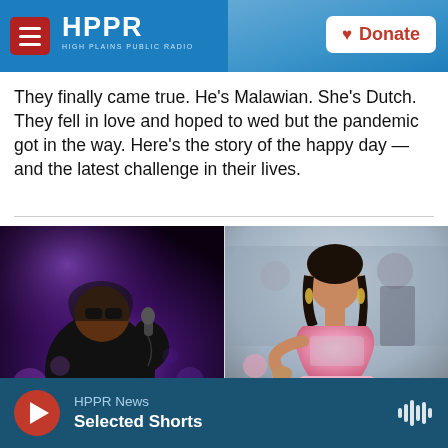HPPR HIGH PLAINS PUBLIC RADIO | Donate
They finally came true. He's Malawian. She's Dutch. They fell in love and hoped to wed but the pandemic got in the way. Here's the story of the happy day — and the latest challenge in their lives.
[Figure (photo): Split image: left side shows a man in black hoodie and sunglasses performing with a microphone on a stage with purple lighting; right side shows a woman in a pink strapless ball gown with rhinestone details at what appears to be a formal event.]
HPPR News | Selected Shorts